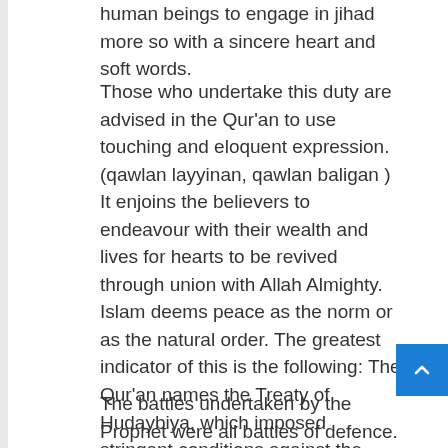human beings to engage in jihad more so with a sincere heart and soft words.
Those who undertake this duty are advised in the Qur'an to use touching and eloquent expression. (qawlan layyinan, qawlan baligan ) It enjoins the believers to endeavour with their wealth and lives for hearts to be revived through union with Allah Almighty. Islam deems peace as the norm or as the natural order. The greatest indicator of this is the following: The Qur'an names the Treaty of Hudaybiya, which imposed stringent conditions against the Muslims as a “Manifest Victory” (Fath al-Mubin) and this “Victory” has become eponym of one of the Qur'anic chapters.
The battles undertaken by the Prophet were all battles of defence. They were carried out for the purpose of either driving back assaults against